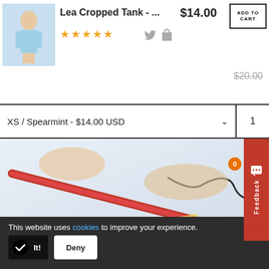[Figure (screenshot): E-commerce product page screenshot showing Lea Cropped Tank product with image, price $14.00, star rating, ADD TO CART button, variant dropdown XS / Spearmint - $14.00 USD, quantity field, and a product lifestyle photo of a red tool/pen on white surface. Overlaid feedback tab and cookie consent banner.]
Lea Cropped Tank - ...
$14.00
ADD TO CART
★★★★★
$20.00
XS / Spearmint - $14.00 USD
1
Feedback
0
This website uses cookies to improve your experience.
It!
Deny